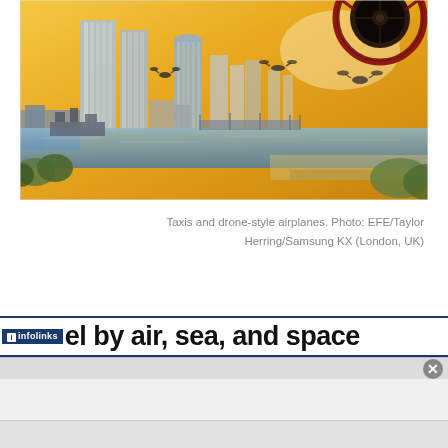[Figure (photo): Aerial view of a futuristic London cityscape with drone-style flying taxis and vehicles in the sky above the River Thames. A close-up of a circular drone/flying vehicle is visible in the upper right. City skyscrapers, the Thames river, and green foliage are visible below. Warm golden sunset lighting.]
Taxis and drone-style airplanes. Photo: EFE/Taylor Herring/Samsung KX (London, UK)
el by air, sea, and space